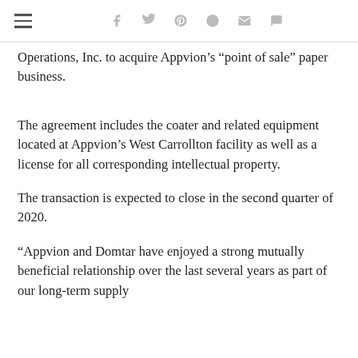Social sharing icons: facebook, twitter, pinterest, reddit, email, comment
Operations, Inc. to acquire Appvion’s “point of sale” paper business.
The agreement includes the coater and related equipment located at Appvion’s West Carrollton facility as well as a license for all corresponding intellectual property.
The transaction is expected to close in the second quarter of 2020.
“Appvion and Domtar have enjoyed a strong mutually beneficial relationship over the last several years as part of our long-term supply